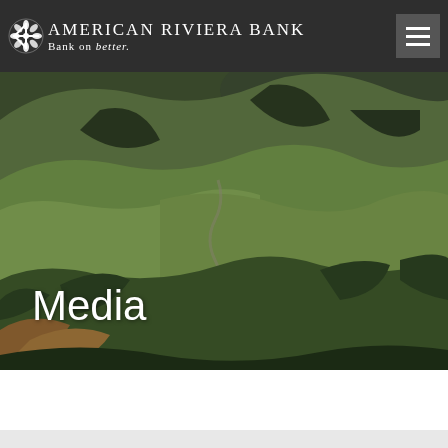American Riviera Bank — Bank on better.
[Figure (photo): Aerial landscape photo of rolling green hills with winding roads and valleys, used as hero background image for the Media page of American Riviera Bank website]
Media